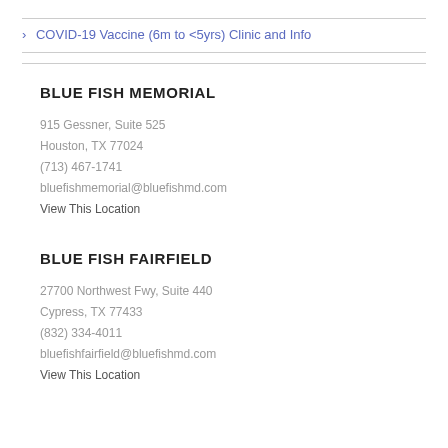> COVID-19 Vaccine (6m to <5yrs) Clinic and Info
BLUE FISH MEMORIAL
915 Gessner, Suite 525
Houston, TX 77024
(713) 467-1741
bluefishmemorial@bluefishmd.com
View This Location
BLUE FISH FAIRFIELD
27700 Northwest Fwy, Suite 440
Cypress, TX 77433
(832) 334-4011
bluefishfairfield@bluefishmd.com
View This Location